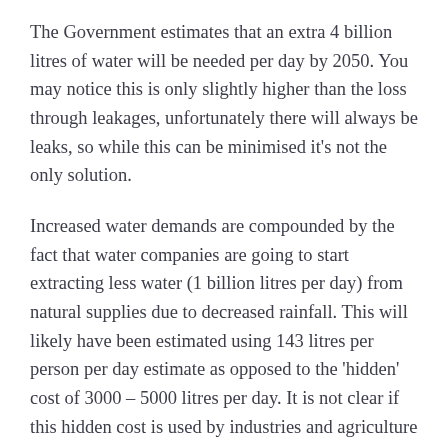The Government estimates that an extra 4 billion litres of water will be needed per day by 2050. You may notice this is only slightly higher than the loss through leakages, unfortunately there will always be leaks, so while this can be minimised it's not the only solution.
Increased water demands are compounded by the fact that water companies are going to start extracting less water (1 billion litres per day) from natural supplies due to decreased rainfall. This will likely have been estimated using 143 litres per person per day estimate as opposed to the 'hidden' cost of 3000 – 5000 litres per day. It is not clear if this hidden cost is used by industries and agriculture when estimating water use.
So yes we need more water but fixing leaks will only do so much. Leaks cost a lot of money to fix and I doubt that the amount lost can be reduced completely. I also don't know if